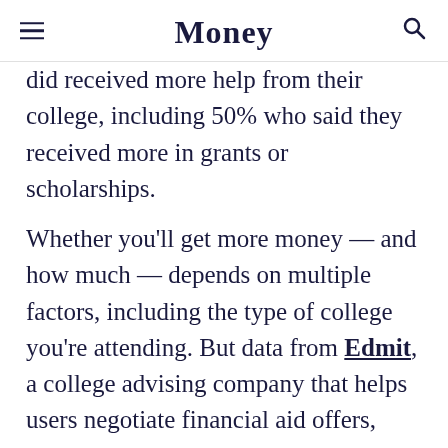Money
did received more help from their college, including 50% who said they received more in grants or scholarships.
Whether you'll get more money — and how much — depends on multiple factors, including the type of college you're attending. But data from Edmit, a college advising company that helps users negotiate financial aid offers, show customers whose appeals did result in more aid received an average of $24,700 more over a four-year period.